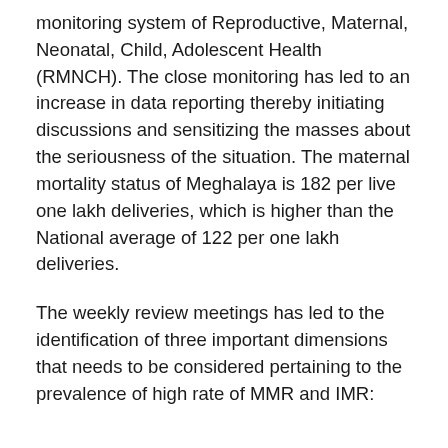monitoring system of Reproductive, Maternal, Neonatal, Child, Adolescent Health (RMNCH). The close monitoring has led to an increase in data reporting thereby initiating discussions and sensitizing the masses about the seriousness of the situation. The maternal mortality status of Meghalaya is 182 per live one lakh deliveries, which is higher than the National average of 122 per one lakh deliveries.
The weekly review meetings has led to the identification of three important dimensions that needs to be considered pertaining to the prevalence of high rate of MMR and IMR: